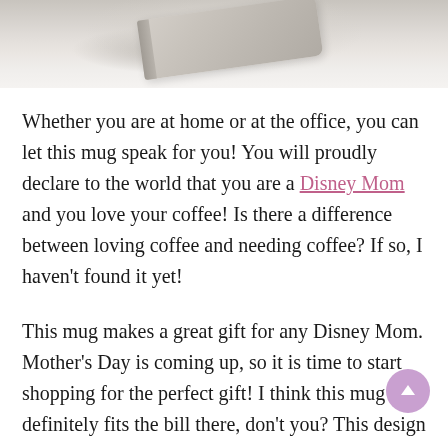[Figure (photo): Top portion of a photo showing books or similar items on white fabric/wicker background, partially cropped]
Whether you are at home or at the office, you can let this mug speak for you! You will proudly declare to the world that you are a Disney Mom and you love your coffee! Is there a difference between loving coffee and needing coffee? If so, I haven't found it yet!
This mug makes a great gift for any Disney Mom. Mother's Day is coming up, so it is time to start shopping for the perfect gift! I think this mug definitely fits the bill there, don't you? This design is